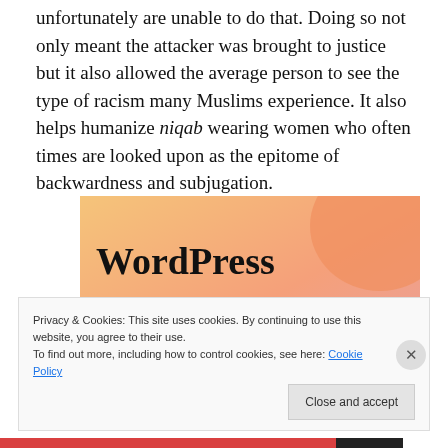unfortunately are unable to do that. Doing so not only meant the attacker was brought to justice but it also allowed the average person to see the type of racism many Muslims experience. It also helps humanize niqab wearing women who often times are looked upon as the epitome of backwardness and subjugation.
[Figure (illustration): WordPress advertisement banner with colorful blob shapes in orange, peach, and pink tones. Text reads 'WordPress in the back.' in bold serif font.]
Privacy & Cookies: This site uses cookies. By continuing to use this website, you agree to their use.
To find out more, including how to control cookies, see here: Cookie Policy
Close and accept